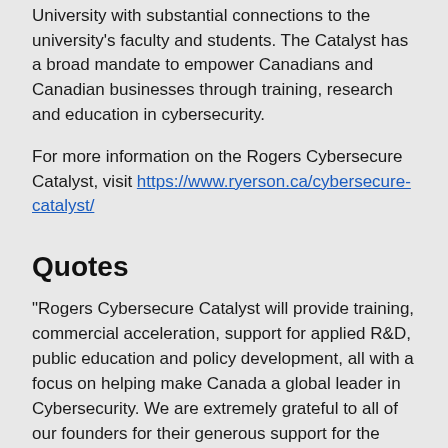University with substantial connections to the university's faculty and students. The Catalyst has a broad mandate to empower Canadians and Canadian businesses through training, research and education in cybersecurity.
For more information on the Rogers Cybersecure Catalyst, visit https://www.ryerson.ca/cybersecure-catalyst/
Quotes
"Rogers Cybersecure Catalyst will provide training, commercial acceleration, support for applied R&D, public education and policy development, all with a focus on helping make Canada a global leader in Cybersecurity. We are extremely grateful to all of our founders for their generous support for the Rogers Cybersecure Catalyst. We look forward to working with them, and with collaborators across industry sectors and in many other post-secondary institutions, to tackle the challenges and seize the